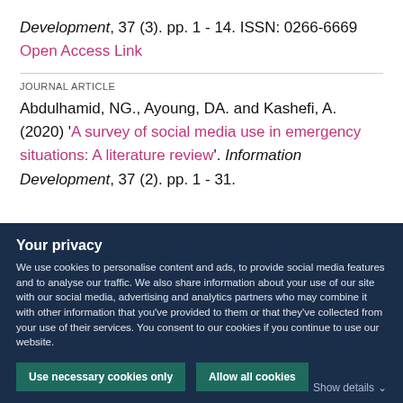Development, 37 (3). pp. 1 - 14. ISSN: 0266-6669 Open Access Link
JOURNAL ARTICLE
Abdulhamid, NG., Ayoung, DA. and Kashefi, A. (2020) 'A survey of social media use in emergency situations: A literature review'. Information Development, 37 (2). pp. 1 - 31.
Your privacy
We use cookies to personalise content and ads, to provide social media features and to analyse our traffic. We also share information about your use of our site with our social media, advertising and analytics partners who may combine it with other information that you've provided to them or that they've collected from your use of their services. You consent to our cookies if you continue to use our website.
Use necessary cookies only
Allow all cookies
Show details